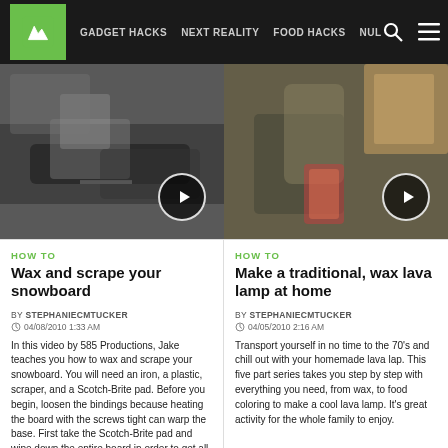GADGET HACKS  NEXT REALITY  FOOD HACKS  NUL
[Figure (screenshot): Thumbnail of person waxing a snowboard with play button overlay]
[Figure (screenshot): Thumbnail of person holding colorful item in kitchen with play button overlay]
HOW TO
Wax and scrape your snowboard
BY STEPHANIECMTUCKER
04/08/2010 1:33 AM
In this video by 585 Productions, Jake teaches you how to wax and scrape your snowboard. You will need an iron, a plastic, scraper, and a Scotch-Brite pad. Before you begin, loosen the bindings because heating the board with the screws tight can warp the base. First take the Scotch-Brite pad and wipe down the entire board in order to get all the grime, dirt, and old
HOW TO
Make a traditional, wax lava lamp at home
BY STEPHANIECMTUCKER
04/05/2010 2:16 AM
Transport yourself in no time to the 70's and chill out with your homemade lava lap. This five part series takes you step by step with everything you need, from wax, to food coloring to make a cool lava lamp. It's great activity for the whole family to enjoy.